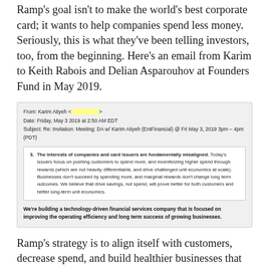Ramp's goal isn't to make the world's best corporate card; it wants to help companies spend less money. Seriously, this is what they've been telling investors, too, from the beginning. Here's an email from Karim to Keith Rabois and Delian Asparouhov at Founders Fund in May 2019.
From: Karim Atiyeh <[redacted]>
Date: Friday, May 3 2019 at 2:50 AM EDT
Subject: Re: Invitation: Meeting: DA w/ Karim Atiyeh (EntFinancial) @ Fri May 3, 2019 3pm – 4pm (PDT)
3. The interests of companies and card issuers are fundamentally misaligned. Today's issuers focus on pushing customers to spend more, and incentivizing higher spend through rewards (which are not heavily differentiable, and drive challenged unit economics at scale). Businesses don't succeed by spending more, and marginal rewards don't change long term outcomes. We believe that drive savings, not spend, will prove better for both customers and better long-term unit economics.
We're building a technology-driven financial services company that is focused on improving the operating efficiency and long term success of growing businesses.
Ramp's strategy is to align itself with customers, decrease spend, and build healthier businesses that can reinvest in growth. It's the long-game, but it's already